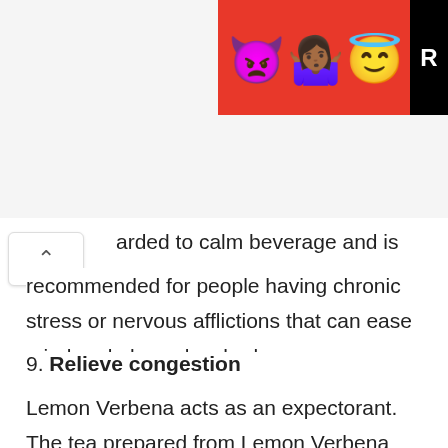[Figure (illustration): Advertisement banner with red background showing emoji characters: purple devil, woman with raised hands (medium-dark skin), and angel/halo emoji. Black box with letter R on the right edge.]
arded to calm beverage and is recommended for people having chronic stress or nervous afflictions that can ease mind and also calms body.
9. Relieve congestion
Lemon Verbena acts as an expectorant. The tea prepared from Lemon Verbena helps to loosen congestion in respiratory tracts and also excludes mucous and phlegm in the system.